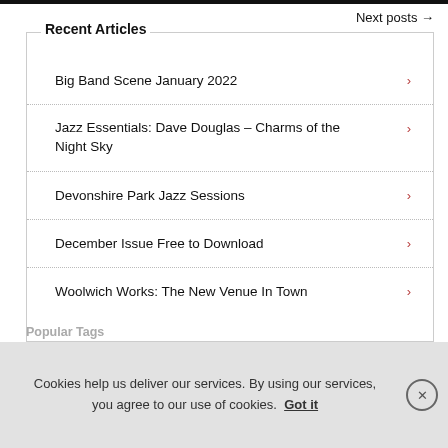Next posts →
Recent Articles
Big Band Scene January 2022
Jazz Essentials: Dave Douglas – Charms of the Night Sky
Devonshire Park Jazz Sessions
December Issue Free to Download
Woolwich Works: The New Venue In Town
Popular Tags
Cookies help us deliver our services. By using our services, you agree to our use of cookies. Got it